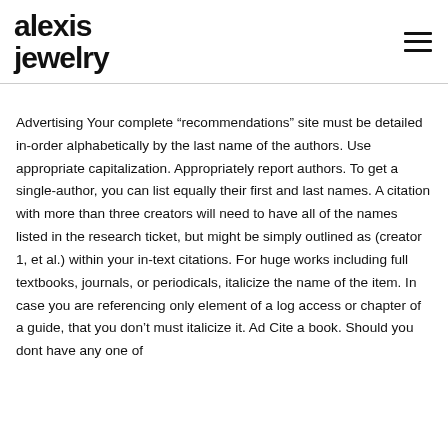[Figure (logo): Alexis Jewelry logo — bold lowercase sans-serif text reading 'alexis jewelry' stacked on two lines]
Advertising Your complete “recommendations” site must be detailed in-order alphabetically by the last name of the authors. Use appropriate capitalization. Appropriately report authors. To get a single-author, you can list equally their first and last names. A citation with more than three creators will need to have all of the names listed in the research ticket, but might be simply outlined as (creator 1, et al.) within your in-text citations. For huge works including full textbooks, journals, or periodicals, italicize the name of the item. In case you are referencing only element of a log access or chapter of a guide, that you don’t must italicize it. Ad Cite a book. Should you dont have any one of